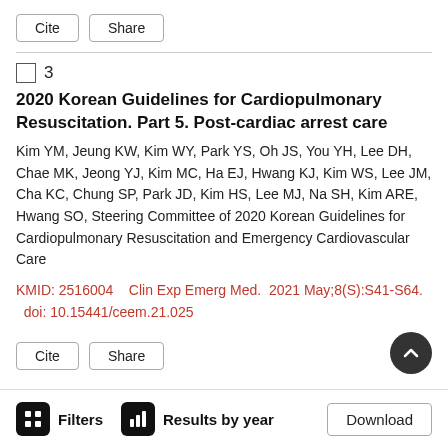Cite   Share
3
2020 Korean Guidelines for Cardiopulmonary Resuscitation. Part 5. Post-cardiac arrest care
Kim YM, Jeung KW, Kim WY, Park YS, Oh JS, You YH, Lee DH, Chae MK, Jeong YJ, Kim MC, Ha EJ, Hwang KJ, Kim WS, Lee JM, Cha KC, Chung SP, Park JD, Kim HS, Lee MJ, Na SH, Kim ARE, Hwang SO, Steering Committee of 2020 Korean Guidelines for Cardiopulmonary Resuscitation and Emergency Cardiovascular Care
KMID: 2516004    Clin Exp Emerg Med.  2021 May;8(S):S41-S64.  doi: 10.15441/ceem.21.025
Cite   Share
Filters   Results by year   Download